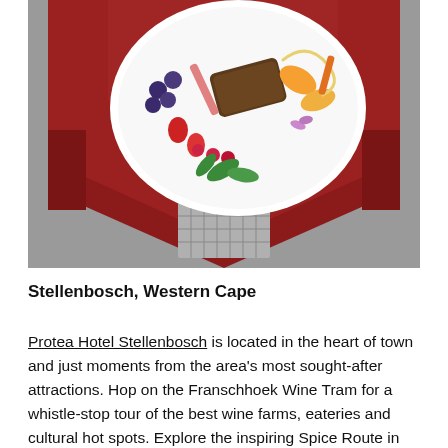[Figure (photo): Overhead view of an elegantly plated dish on a white round plate, garnished with berries, edible flowers, greens, and colorful vegetables, resting on a deep red lacquered square table. The background is a grey concrete floor.]
Stellenbosch, Western Cape
Protea Hotel Stellenbosch is located in the heart of town and just moments from the area's most sought-after attractions. Hop on the Franschhoek Wine Tram for a whistle-stop tour of the best wine farms, eateries and cultural hot spots. Explore the inspiring Spice Route in